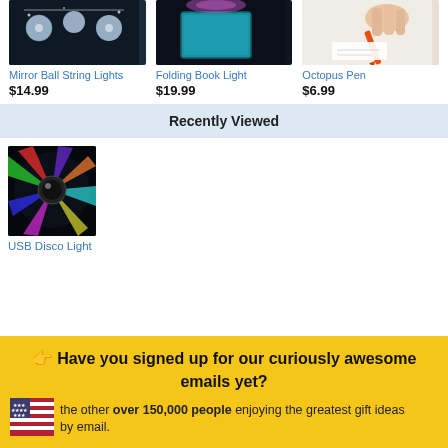[Figure (photo): Mirror Ball String Lights product photo - string lights with disco ball bulbs against dark background]
Mirror Ball String Lights
$14.99
[Figure (photo): Folding Book Light product photo - teal/blue book-shaped light on dark background]
Folding Book Light
$19.99
[Figure (photo): Octopus Pen product photo - hand holding an orange pen writing on paper]
Octopus Pen
$6.99
Recently Viewed
[Figure (photo): USB Disco Light product photo - colorful rotating LED disco light against dark background]
USB Disco Light
👆 Have you signed up for our curiously awesome emails yet?
Join the other over 150,000 people enjoying the greatest gift ideas by email.